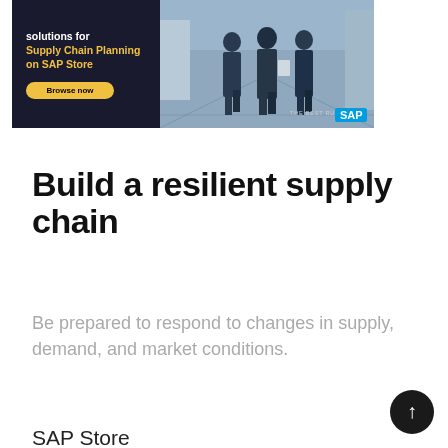[Figure (illustration): SAP Store advertisement banner showing business professionals walking in a warehouse/industrial setting. Left side has dark background with text about Supply Chain Planning solutions on SAP Store and a Browse now button. Right side shows photo of three men in suits walking in a warehouse. SAP logo and THE BEST RUN branding visible.]
Build a resilient supply chain
Be prepared to respond to changes in supply, demand, and market conditions.
SAP Store